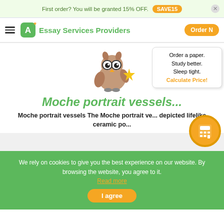First order? You will be granted 15% OFF. SAVE15
Essay Services Providers — Order Now
[Figure (illustration): Cartoon owl mascot wearing glasses and holding a gold star]
Order a paper. Study better. Sleep tight. Calculate Price!
Moche portrait vessels...
Moche portrait vessels The Moche portrait ve... depicted lifelike ceramic po...
We rely on cookies to give you the best experience on our website. By browsing the website, you agree to it. Read more
I agree